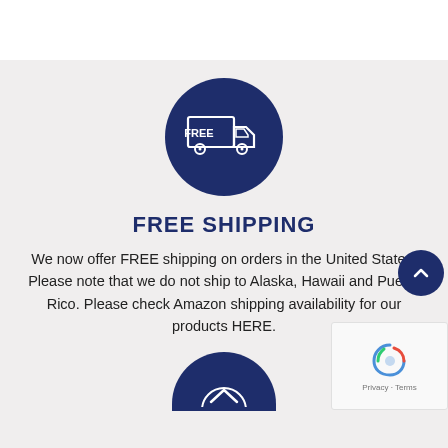[Figure (illustration): Dark navy circle with a white outline icon of a delivery truck with FREE text on its side]
FREE SHIPPING
We now offer FREE shipping on orders in the United States. Please note that we do not ship to Alaska, Hawaii and Puerto Rico. Please check Amazon shipping availability for our products HERE.
[Figure (illustration): Partial dark navy semicircle at bottom, top of another icon]